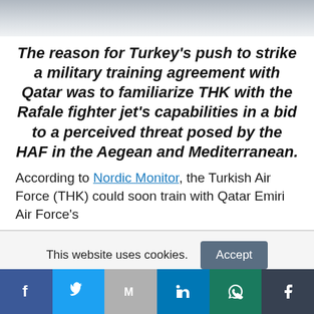[Figure (photo): Gray gradient header image banner]
The reason for Turkey's push to strike a military training agreement with Qatar was to familiarize THK with the Rafale fighter jet's capabilities in a bid to a perceived threat posed by the HAF in the Aegean and Mediterranean.
According to Nordic Monitor, the Turkish Air Force (THK) could soon train with Qatar Emiri Air Force's
This website uses cookies. Accept
[Figure (infographic): Social media sharing bar with Facebook, Twitter, Gmail, LinkedIn, WhatsApp, and Tumblr icons]